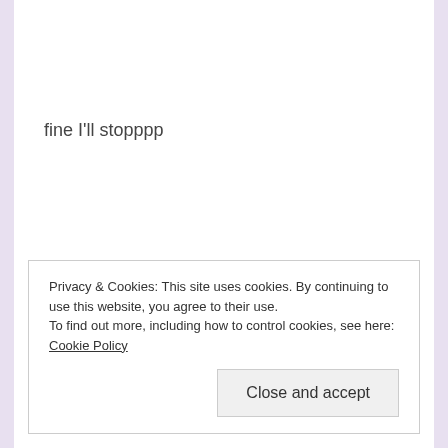fine I'll stopppp
Privacy & Cookies: This site uses cookies. By continuing to use this website, you agree to their use.
To find out more, including how to control cookies, see here: Cookie Policy
Close and accept